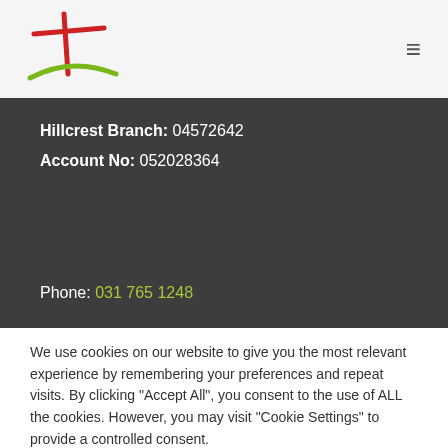[Figure (logo): Church logo: red cross with green arc beneath, hand-drawn style]
Hillcrest Branch: 04572642
Account No: 052028364
Phone: 031 765 1248
We use cookies on our website to give you the most relevant experience by remembering your preferences and repeat visits. By clicking "Accept All", you consent to the use of ALL the cookies. However, you may visit "Cookie Settings" to provide a controlled consent.
Cookie Settings
Accept All